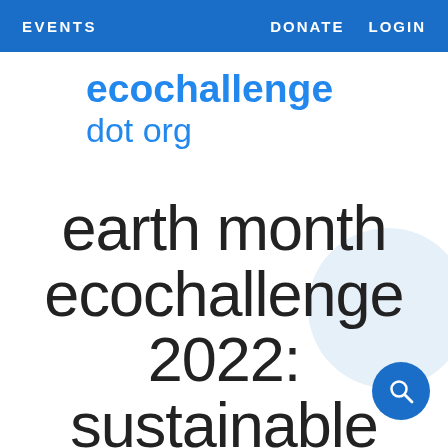EVENTS    DONATE    LOGIN
ecochallenge dot org
earth month ecochallenge 2022: sustainable